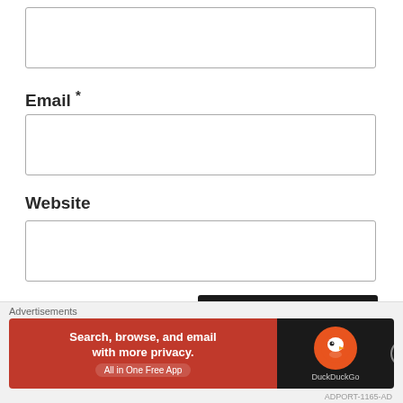[Figure (other): Empty text input box (name/comment field)]
Email *
[Figure (other): Empty text input box (email field)]
Website
[Figure (other): Empty text input box (website field)]
[Figure (other): Post Comment button]
Notify me of new comments via email.
[Figure (other): DuckDuckGo advertisement banner: Search, browse, and email with more privacy. All in One Free App. DuckDuckGo logo.]
Advertisements
ADPORT-1165-AD